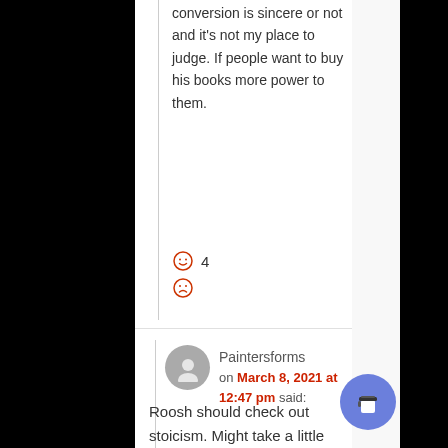conversion is sincere or not and it's not my place to judge. If people want to buy his books more power to them.
[Figure (other): Reaction icons: smiley face with count 4, and frowning face]
Paintersforms on March 8, 2021 at 12:47 pm said:
Roosh should check out stoicism. Might take a little